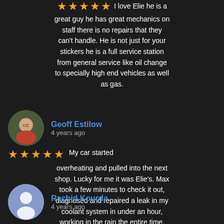I love Elie he is a great guy he has great mechanics on staff there is no repairs that they can't handle. He is not just for your stickers he is a full service station from general service like oil change to specially high end vehicles as well as gas.
Geoff Estilow
4 years ago
My car started overheating and pulled into the next shop. Lucky for me it was Elie's. Max took a few minutes to check it out, diagnosed and repaired a leak in my coolant system in under an hour, working in the rain the entire time.
Rachid Kourda
4 years ago
Slow service, rude staff and will only take a car job